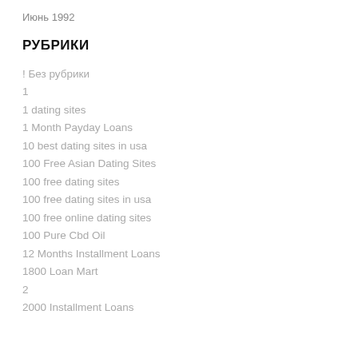Июнь 1992
РУБРИКИ
! Без рубрики
1
1 dating sites
1 Month Payday Loans
10 best dating sites in usa
100 Free Asian Dating Sites
100 free dating sites
100 free dating sites in usa
100 free online dating sites
100 Pure Cbd Oil
12 Months Installment Loans
1800 Loan Mart
2
2000 Installment Loans